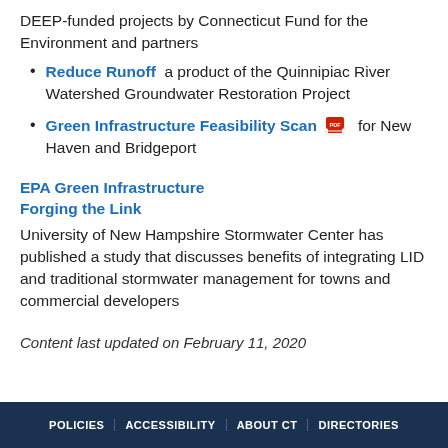DEEP-funded projects by Connecticut Fund for the Environment and partners
Reduce Runoff  a product of the Quinnipiac River Watershed Groundwater Restoration Project
Green Infrastructure Feasibility Scan [PDF] for New Haven and Bridgeport
EPA Green Infrastructure
Forging the Link
University of New Hampshire Stormwater Center has published a study that discusses benefits of integrating LID and traditional stormwater management for towns and commercial developers
Content last updated on February 11, 2020
POLICIES  ACCESSIBILITY  ABOUT CT  DIRECTORIES